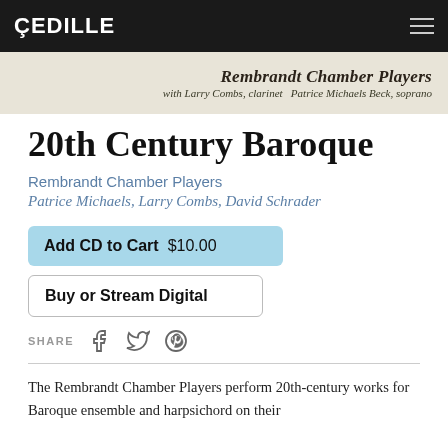CEDILLE
[Figure (illustration): Album cover strip showing 'Rembrandt Chamber Players' with text 'with Larry Combs, clarinet  Patrice Michaels Beck, soprano' on a beige/cream background]
20th Century Baroque
Rembrandt Chamber Players
Patrice Michaels, Larry Combs, David Schrader
Add CD to Cart  $10.00
Buy or Stream Digital
SHARE
The Rembrandt Chamber Players perform 20th-century works for Baroque ensemble and harpsichord on their